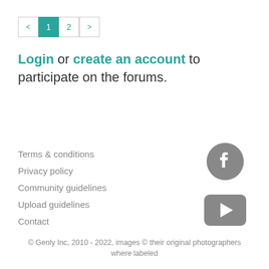[Figure (other): Pagination control showing left arrow, page 1 (active/highlighted in teal), page 2, and right arrow]
Login or create an account to participate on the forums.
Terms & conditions
Privacy policy
Community guidelines
Upload guidelines
Contact
[Figure (logo): Facebook circular icon in gray]
[Figure (logo): YouTube play button icon in gray rounded rectangle]
© Genly Inc, 2010 - 2022, images © their original photographers where labeled